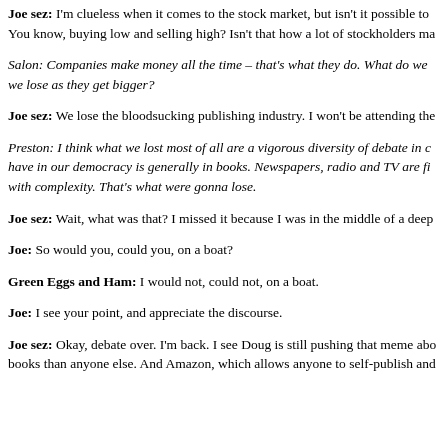Joe sez: I'm clueless when it comes to the stock market, but isn't it possible to You know, buying low and selling high? Isn't that how a lot of stockholders ma
Salon: Companies make money all the time – that's what they do. What do we we lose as they get bigger?
Joe sez: We lose the bloodsucking publishing industry. I won't be attending the
Preston: I think what we lost most of all are a vigorous diversity of debate in c have in our democracy is generally in books. Newspapers, radio and TV are fi with complexity. That's what were gonna lose.
Joe sez: Wait, what was that? I missed it because I was in the middle of a deep
Joe: So would you, could you, on a boat?
Green Eggs and Ham: I would not, could not, on a boat.
Joe: I see your point, and appreciate the discourse.
Joe sez: Okay, debate over. I'm back. I see Doug is still pushing that meme abo books than anyone else. And Amazon, which allows anyone to self-publish and